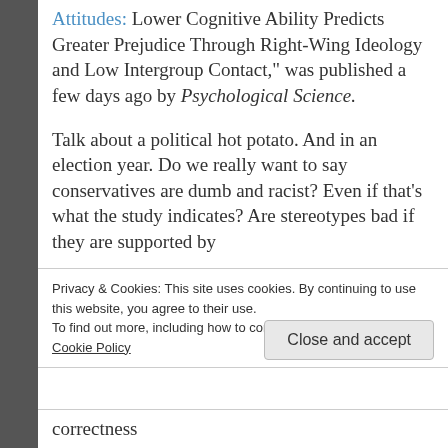Attitudes: Lower Cognitive Ability Predicts Greater Prejudice Through Right-Wing Ideology and Low Intergroup Contact," was published a few days ago by Psychological Science.
Talk about a political hot potato. And in an election year. Do we really want to say conservatives are dumb and racist? Even if that's what the study indicates? Are stereotypes bad if they are supported by
Privacy & Cookies: This site uses cookies. By continuing to use this website, you agree to their use. To find out more, including how to control cookies, see here: Cookie Policy
Close and accept
correctness